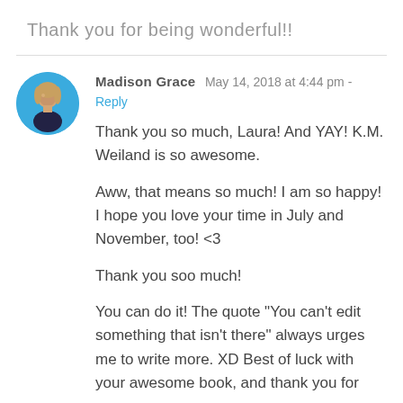Thank you for being wonderful!!
Madison Grace  May 14, 2018 at 4:44 pm -
Reply

Thank you so much, Laura! And YAY! K.M. Weiland is so awesome.

Aww, that means so much! I am so happy! I hope you love your time in July and November, too! <3

Thank you soo much!

You can do it! The quote "You can't edit something that isn't there" always urges me to write more. XD Best of luck with your awesome book, and thank you for